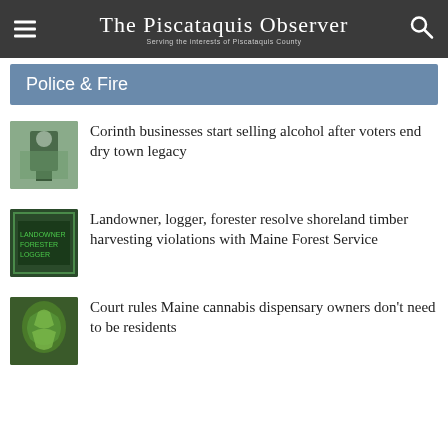The Piscataquis Observer — Serving the interests of Piscataquis County
Police & Fire
Corinth businesses start selling alcohol after voters end dry town legacy
Landowner, logger, forester resolve shoreland timber harvesting violations with Maine Forest Service
Court rules Maine cannabis dispensary owners don't need to be residents